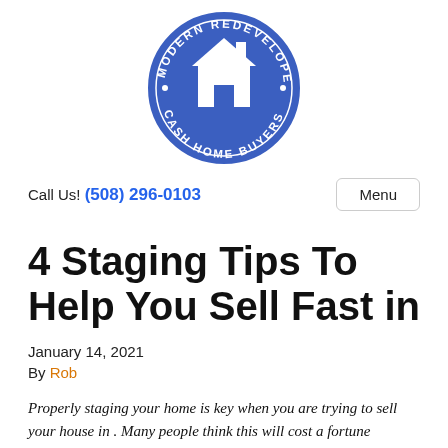[Figure (logo): Modern Redeveloper Cash Home Buyers circular logo with a house icon in the center on a blue background]
Call Us! (508) 296-0103
Menu
4 Staging Tips To Help You Sell Fast in
January 14, 2021
By Rob
Properly staging your home is key when you are trying to sell your house in . Many people think this will cost a fortune